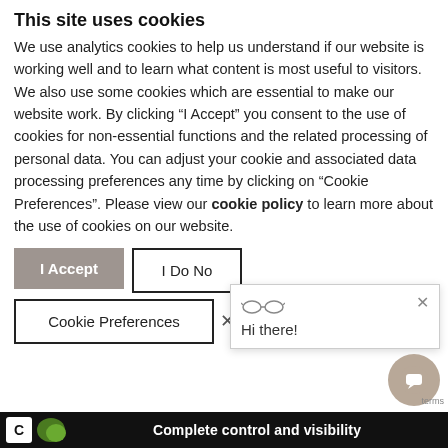This site uses cookies
We use analytics cookies to help us understand if our website is working well and to learn what content is most useful to visitors. We also use some cookies which are essential to make our website work. By clicking “I Accept” you consent to the use of cookies for non-essential functions and the related processing of personal data. You can adjust your cookie and associated data processing preferences any time by clicking on “Cookie Preferences”. Please view our cookie policy to learn more about the use of cookies on our website.
I Accept
I Do No
Cookie Preferences
[Figure (screenshot): Chat popup overlay with glasses icon, close X button, and 'Hi there!' text]
[Figure (other): Chat bubble button (round, beige/brown, with chat icon)]
Complete control and visibility